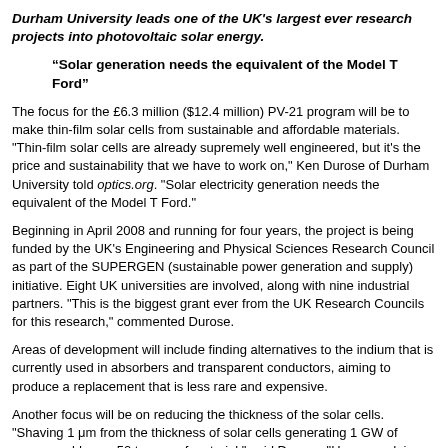Durham University leads one of the UK's largest ever research projects into photovoltaic solar energy.
“Solar generation needs the equivalent of the Model T Ford”
The focus for the £6.3 million ($12.4 million) PV-21 program will be to make thin-film solar cells from sustainable and affordable materials. "Thin-film solar cells are already supremely well engineered, but it's the price and sustainability that we have to work on," Ken Durose of Durham University told optics.org. "Solar electricity generation needs the equivalent of the Model T Ford."
Beginning in April 2008 and running for four years, the project is being funded by the UK's Engineering and Physical Sciences Research Council as part of the SUPERGEN (sustainable power generation and supply) initiative. Eight UK universities are involved, along with nine industrial partners. "This is the biggest grant ever from the UK Research Councils for this research," commented Durose.
Areas of development will include finding alternatives to the indium that is currently used in absorbers and transparent conductors, aiming to produce a replacement that is less rare and expensive.
Another focus will be on reducing the thickness of the solar cells. "Shaving 1 μm from the thickness of solar cells generating 1 GW of power could save 50 tonnes of material," said Durose. "However, doing so poses significant technical challenges."